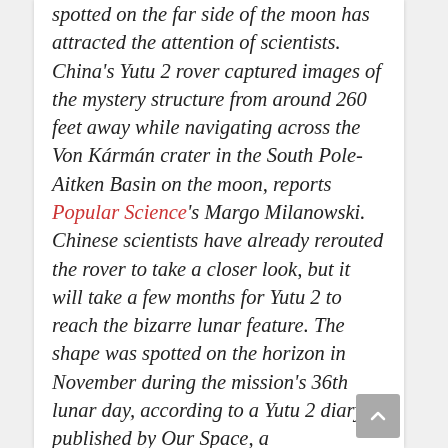spotted on the far side of the moon has attracted the attention of scientists. China's Yutu 2 rover captured images of the mystery structure from around 260 feet away while navigating across the Von Kármán crater in the South Pole-Aitken Basin on the moon, reports Popular Science's Margo Milanowski. Chinese scientists have already rerouted the rover to take a closer look, but it will take a few months for Yutu 2 to reach the bizarre lunar feature. The shape was spotted on the horizon in November during the mission's 36th lunar day, according to a Yutu 2 diary published by Our Space, a